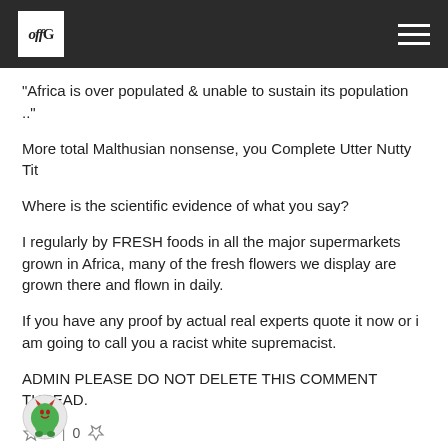[Figure (logo): OffGuardian website logo in white box on dark header bar, with hamburger menu icon on right]
"Africa is over populated & unable to sustain its population .."
More total Malthusian nonsense, you Complete Utter Nutty Tit
Where is the scientific evidence of what you say?
I regularly by FRESH foods in all the major supermarkets grown in Africa, many of the fresh flowers we display are grown there and flown in daily.
If you have any proof by actual real experts quote it now or i am going to call you a racist white supremacist.
ADMIN PLEASE DO NOT DELETE THIS COMMENT THREAD.
👍 2 | 0 👎
[Figure (illustration): Small circular avatar icon showing a green devil/monster character]